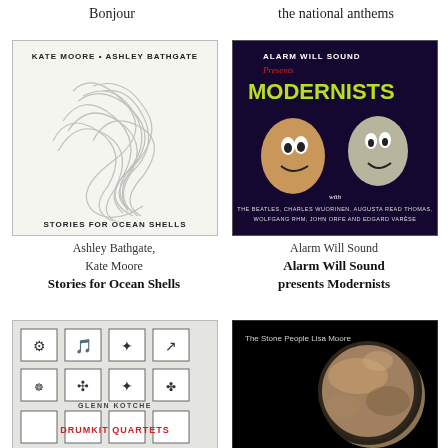Bonjour
the national anthems
[Figure (illustration): Album cover for Stories for Ocean Shells by Kate Moore and Ashley Bathgate. White background with pencil sketch of intertwining organic shapes. Text: KATE MOORE • ASHLEY BATHGATE, STORIES FOR OCEAN SHELLS]
Ashley Bathgate,
Kate Moore
Stories for Ocean Shells
[Figure (illustration): Album cover for Alarm Will Sound presents Modernists. Dark purple background with cartoon-style illustrated shocked faces and text ALARM WILL SOUND presents MODERNISTS in yellow/green letters. Credits: THE BEATLES, CHARLES WUORINEN, AUGUSTA READ THOMAS, WOLFGANG RHM, JOHN ORFE AND EDGARD VARÈSE]
Alarm Will Sound
Alarm Will Sound presents Modernists
[Figure (illustration): Album cover for Drumkit Quartets by Glenn Kotche. Grid of symbols/icons on light background with red text DRUMKIT QUARTETS and GLENN KOTCHE.]
[Figure (photo): Album cover for The Stone People by Lisa Moore. Black background showing a photograph of Pluto (planet). Text: The Stone People  Lisa Moore]